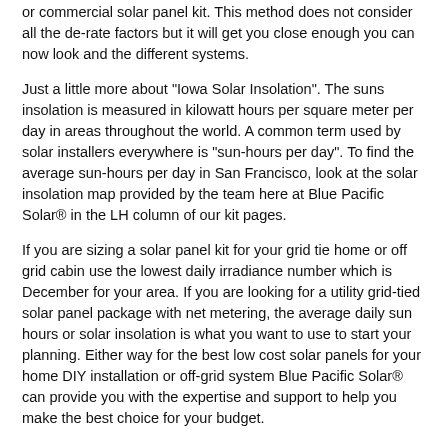or commercial solar panel kit. This method does not consider all the de-rate factors but it will get you close enough you can now look and the different systems.
Just a little more about "Iowa Solar Insolation". The suns insolation is measured in kilowatt hours per square meter per day in areas throughout the world. A common term used by solar installers everywhere is "sun-hours per day". To find the average sun-hours per day in San Francisco, look at the solar insolation map provided by the team here at Blue Pacific Solar® in the LH column of our kit pages.
If you are sizing a solar panel kit for your grid tie home or off grid cabin use the lowest daily irradiance number which is December for your area. If you are looking for a utility grid-tied solar panel package with net metering, the average daily sun hours or solar insolation is what you want to use to start your planning. Either way for the best low cost solar panels for your home DIY installation or off-grid system Blue Pacific Solar® can provide you with the expertise and support to help you make the best choice for your budget.
WEB SOLAR STORE